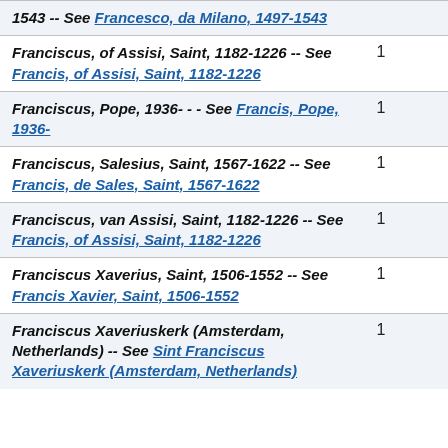| Entry | Count |
| --- | --- |
| 1543 -- See Francesco, da Milano, 1497-1543 |  |
| Franciscus, of Assisi, Saint, 1182-1226 -- See Francis, of Assisi, Saint, 1182-1226 | 1 |
| Franciscus, Pope, 1936- - - See Francis, Pope, 1936- | 1 |
| Franciscus, Salesius, Saint, 1567-1622 -- See Francis, de Sales, Saint, 1567-1622 | 1 |
| Franciscus, van Assisi, Saint, 1182-1226 -- See Francis, of Assisi, Saint, 1182-1226 | 1 |
| Franciscus Xaverius, Saint, 1506-1552 -- See Francis Xavier, Saint, 1506-1552 | 1 |
| Franciscus Xaveriuskerk (Amsterdam, Netherlands) -- See Sint Franciscus Xaveriuskerk (Amsterdam, Netherlands) | 1 |